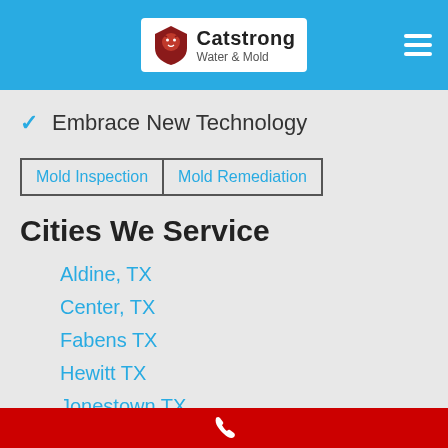[Figure (logo): Catstrong Water & Mold logo with lion icon in white box on blue header bar]
✓ Embrace New Technology
Mold Inspection | Mold Remediation
Cities We Service
Aldine, TX
Center, TX
Fabens TX
Hewitt TX
Jonestown TX
Midway South TX
Ovilla TX
San Leon TX
Phone contact bar